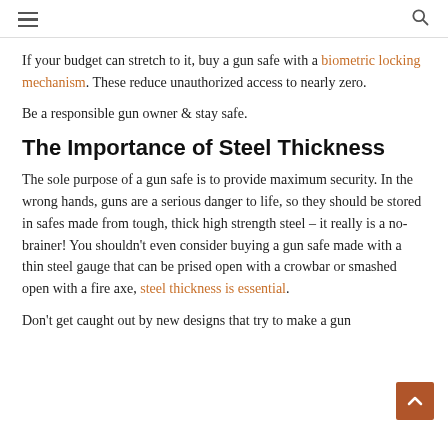If your budget can stretch to it, buy a gun safe with a biometric locking mechanism. These reduce unauthorized access to nearly zero.
Be a responsible gun owner & stay safe.
The Importance of Steel Thickness
The sole purpose of a gun safe is to provide maximum security. In the wrong hands, guns are a serious danger to life, so they should be stored in safes made from tough, thick high strength steel – it really is a no-brainer! You shouldn't even consider buying a gun safe made with a thin steel gauge that can be prised open with a crowbar or smashed open with a fire axe, steel thickness is essential.
Don't get caught out by new designs that try to make a gun